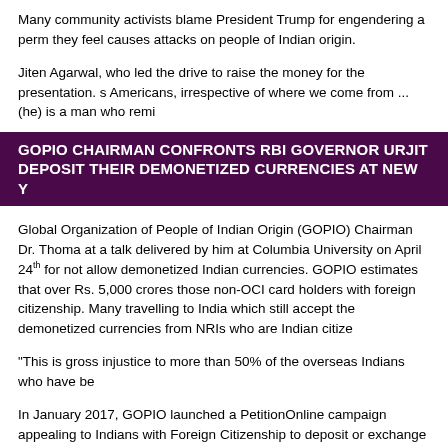Many community activists blame President Trump for engendering a perm they feel causes attacks on people of Indian origin.
Jiten Agarwal, who led the drive to raise the money for the presentation. s Americans, irrespective of where we come from ... (he) is a man who remi
GOPIO CHAIRMAN CONFRONTS RBI GOVERNOR URJIT DEPOSIT THEIR DEMONETIZED CURRENCIES AT NEW Y
Global Organization of People of Indian Origin (GOPIO) Chairman Dr. Thoma at a talk delivered by him at Columbia University on April 24th for not allow demonetized Indian currencies. GOPIO estimates that over Rs. 5,000 crores those non-OCI card holders with foreign citizenship. Many travelling to India which still accept the demonetized currencies from NRIs who are Indian citize
"This is gross injustice to more than 50% of the overseas Indians who have be
In January 2017, GOPIO launched a PetitionOnline campaign appealing to Indians with Foreign Citizenship to deposit or exchange their demonetized In Passport are only allowed to deposit or exchange the demonetized currencie and Nagpur.
Dr. Abraham presented a copy of the issues and comments raised by Diasp signed the petition which is still going on at www.gopio.net.